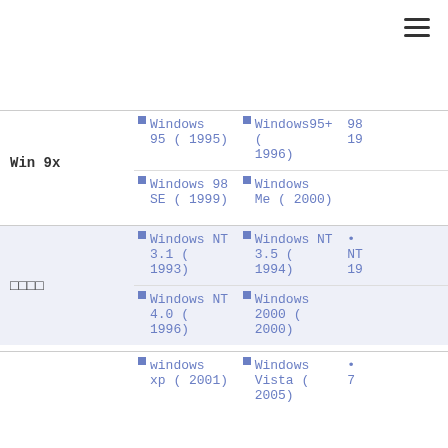| Label | Col1 | Col2 | Col3(partial) |
| --- | --- | --- | --- |
| Win 9x | • Windows 95 ( 1995) | • Windows95+ ( 1996) | 98 / 19... |
| Win 9x | • Windows 98 SE ( 1999) | • Windows Me ( 2000) |  |
| □□□□ | • Windows NT 3.1 ( 1993) | • Windows NT 3.5 ( 1994) | • NT... 19... |
| □□□□ | • Windows NT 4.0 ( 1996) | • Windows 2000 ( 2000) |  |
|  | • windows xp ( 2001) | • Windows Vista ( 2005) | • 7... |